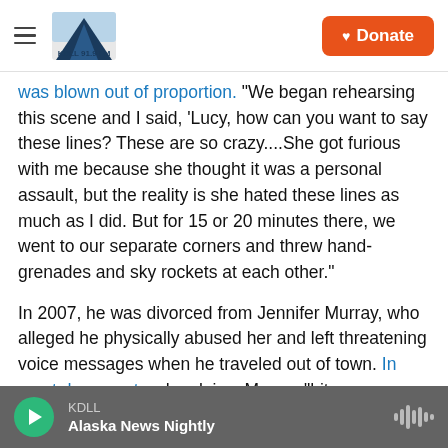KDLL [logo] | Donate
was blown out of proportion. "We began rehearsing this scene and I said, 'Lucy, how can you want to say these lines? These are so crazy....She got furious with me because she thought it was a personal assault, but the reality is she hated these lines as much as I did. But for 15 or 20 minutes there, we went to our separate corners and threw hand-grenades and sky rockets at each other."
In 2007, he was divorced from Jennifer Murray, who alleged he physically abused her and left threatening voice messages when he traveled out of town. In court documents, she claims Murray "hit
KDLL | Alaska News Nightly